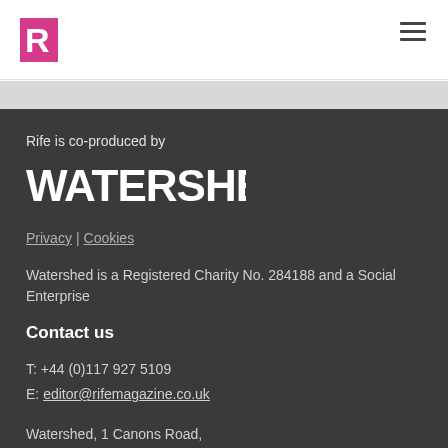R (Rife Magazine logo) | hamburger menu
[Figure (logo): Rife Magazine R logo in pink/magenta on white header bar]
Rife is co-produced by
[Figure (logo): WATERSHED text logo in bold white letters on dark background]
Privacy | Cookies
Watershed is a Registered Charity No. 284188 and a Social Enterprise
Contact us
T: +44 (0)117 927 5109
E: editor@rifemagazine.co.uk
Watershed, 1 Canons Road, Harbourside, Bristol, BS1 5TX